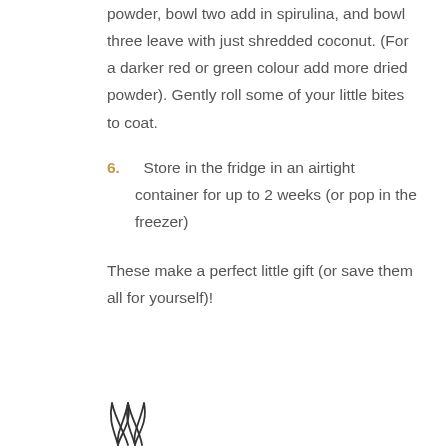powder, bowl two add in spirulina, and bowl three leave with just shredded coconut. (For a darker red or green colour add more dried powder). Gently roll some of your little bites to coat.
6.  Store in the fridge in an airtight container for up to 2 weeks (or pop in the freezer)
These make a perfect little gift (or save them all for yourself)!
[Figure (illustration): A simple hand-drawn style leaf or plant decoration at the bottom of the page]